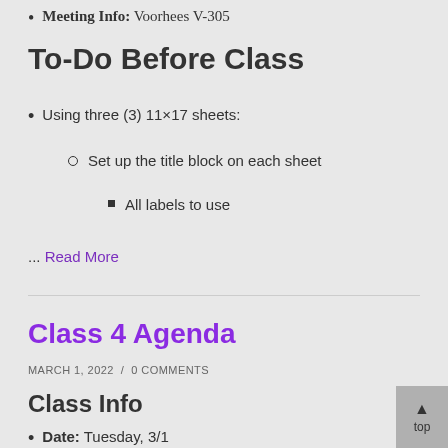Meeting Info: Voorhees V-305
To-Do Before Class
Using three (3) 11×17 sheets:
Set up the title block on each sheet
All labels to use
... Read More
Class 4 Agenda
MARCH 1, 2022 / 0 COMMENTS
Class Info
Date: Tuesday, 3/1